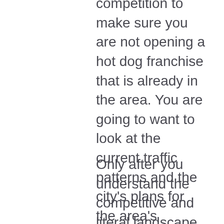competition to make sure you are not opening a hot dog franchise that is already in the area. You are going to want to look at the current traffic patterns and the city's plans for the area's infrastructure in the future. And you are going to want to understand the demographics of the area to ensure there will be a critical mass of people who are likely to enjoy dining on hot dogs.
Only after you understand the competitive and literal landscape will you be able to determine whether you should try to take advantage of one of the hot dog